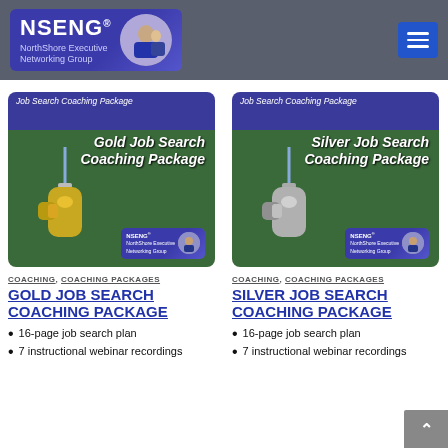NSENG NorthShore Executive Networking Group
[Figure (illustration): Gold Job Search Coaching Package product image with gold whistle and NSENG logo badge]
COACHING, COACHING PACKAGES
GOLD JOB SEARCH COACHING PACKAGE
16-page job search plan
7 instructional webinar recordings
[Figure (illustration): Silver Job Search Coaching Package product image with silver whistle and NSENG logo badge]
COACHING, COACHING PACKAGES
SILVER JOB SEARCH COACHING PACKAGE
16-page job search plan
7 instructional webinar recordings